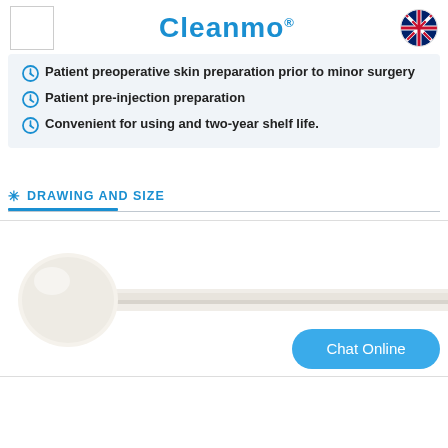[Figure (logo): Cleanmo brand logo with registered trademark symbol, white square placeholder on left, UK flag icon on right]
Patient preoperative skin preparation prior to minor surgery
Patient pre-injection preparation
Convenient for using and two-year shelf life.
DRAWING AND SIZE
[Figure (photo): White foam-tipped swab applicator stick with round ball tip, shown horizontally against white background, with a Chat Online button overlay]